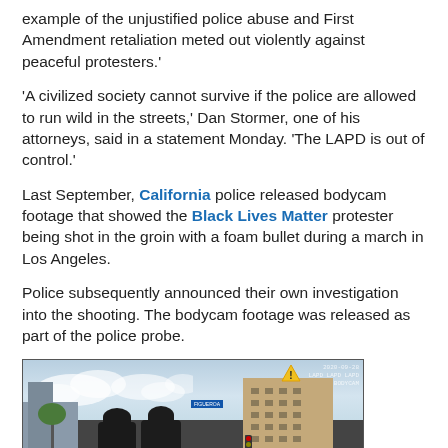example of the unjustified police abuse and First Amendment retaliation meted out violently against peaceful protesters.'
'A civilized society cannot survive if the police are allowed to run wild in the streets,' Dan Stormer, one of his attorneys, said in a statement Monday. 'The LAPD is out of control.'
Last September, California police released bodycam footage that showed the Black Lives Matter protester being shot in the groin with a foam bullet during a march in Los Angeles.
Police subsequently announced their own investigation into the shooting. The bodycam footage was released as part of the police probe.
[Figure (screenshot): Bodycam footage screenshot showing police officers in tactical gear on a Los Angeles street with protesters in the background. Subtitle reads 'Get the hell out!' and watermark shows LAPD logo.]